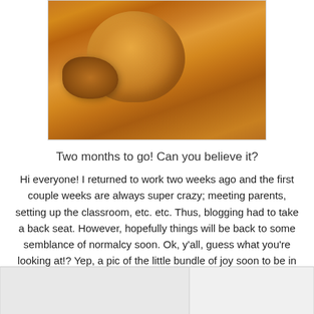[Figure (photo): 3D ultrasound image of a fetus in amber/orange tones showing the baby's face and features]
Two months to go! Can you believe it?
Hi everyone! I returned to work two weeks ago and the first couple weeks are always super crazy; meeting parents, setting up the classroom, etc. etc. Thus, blogging had to take a back seat. However, hopefully things will be back to some semblance of normalcy soon. Ok, y'all, guess what you're looking at!? Yep, a pic of the little bundle of joy soon to be in
[Figure (photo): Partially visible image at bottom left of page]
[Figure (photo): Partially visible image at bottom right of page]